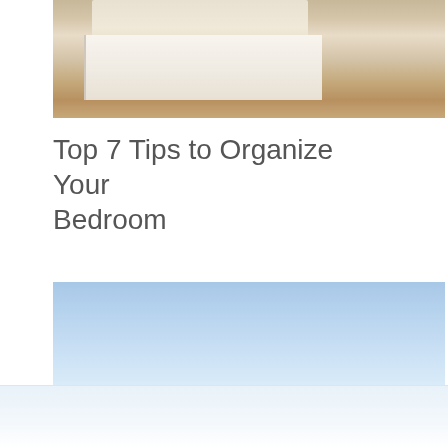[Figure (photo): Photograph of a neatly made bedroom with white/cream colored bed linen, white headboard, and light wood flooring visible]
Top 7 Tips to Organize Your Bedroom
[Figure (photo): Photograph showing a clear blue sky with some faint white haze near the bottom]